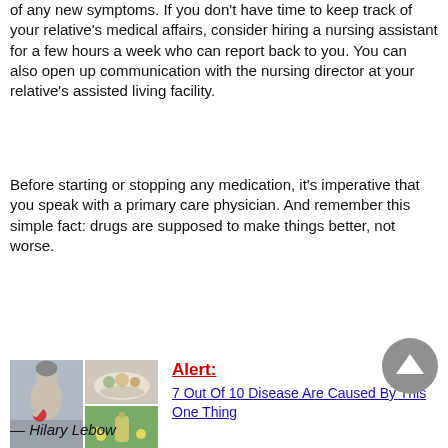of any new symptoms. If you don't have time to keep track of your relative's medical affairs, consider hiring a nursing assistant for a few hours a week who can report back to you. You can also open up communication with the nursing director at your relative's assisted living facility.
Before starting or stopping any medication, it's imperative that you speak with a primary care physician. And remember this simple fact: drugs are supposed to make things better, not worse.
[Figure (illustration): Composite image showing a woman holding her lower back in pain on a couch (left), and two smaller images on the right: food/herbs on a plate (top right) and a bottle of oil with flowers (bottom right).]
Alert: 7 Out Of 10 Disease Are Caused By This One Thing
— Hilary Lebow